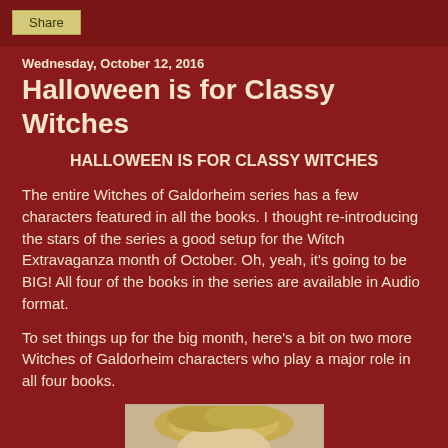Share
Wednesday, October 12, 2016
Halloween is for Classy Witches
HALLOWEEN IS FOR CLASSY WITCHES
The entire Witches of Galdorheim series has a few characters featured in all the books. I thought re-introducing the stars of the series a good setup for the Witch Extravaganza month of October. Oh, yeah, it's going to be BIG! All four of the books in the series are available in Audio format.
To set things up for the big month, here's a bit on two more Witches of Galdorheim characters who play a major role in all four books.
[Figure (photo): Portrait photo of a woman with blonde hair, partially visible at the bottom of the page]